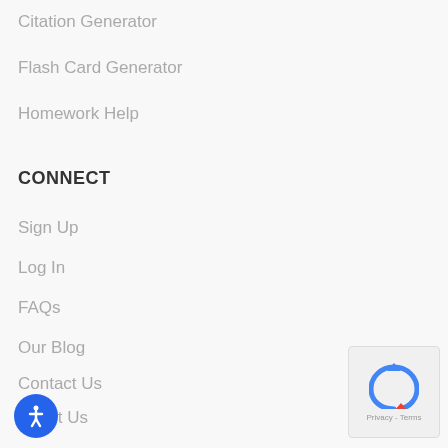Citation Generator
Flash Card Generator
Homework Help
CONNECT
Sign Up
Log In
FAQs
Our Blog
Contact Us
About Us